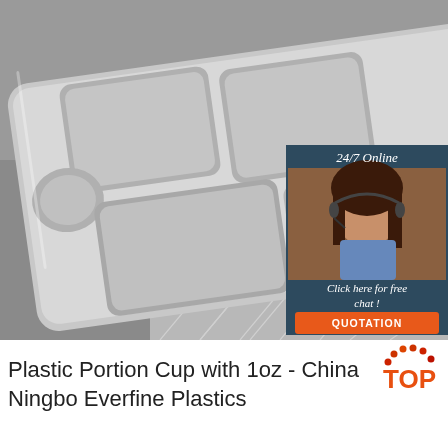[Figure (photo): Stainless steel divided portion tray/cafeteria tray with multiple compartments and a circular cup holder, placed on a gray surface with geometric patterned cloth. Overlaid with a 24/7 online chat widget showing a female customer service agent wearing a headset.]
[Figure (logo): TOP logo with red/orange dots arc above the word TOP in orange/red bold text]
Plastic Portion Cup with 1oz - China Ningbo Everfine Plastics